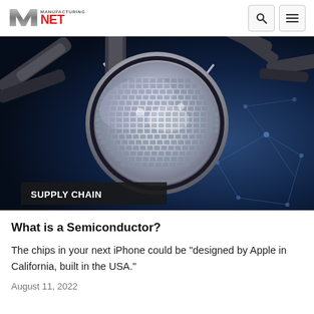Manufacturing.net
[Figure (photo): Close-up of robotic arms probing a silicon semiconductor wafer in a circular holder, with a blue digital network overlay in the background]
SUPPLY CHAIN
What is a Semiconductor?
The chips in your next iPhone could be "designed by Apple in California, built in the USA."
August 11, 2022